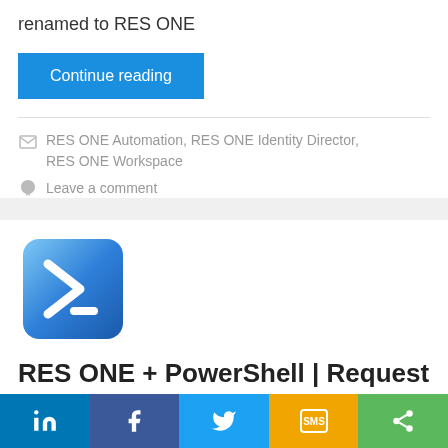renamed to RES ONE
Continue reading
RES ONE Automation, RES ONE Identity Director, RES ONE Workspace
Leave a comment
[Figure (logo): PowerShell logo — blue rounded square with a white > prompt and dash]
RES ONE + PowerShell | Request a
Social sharing bar: LinkedIn, Facebook, Twitter, SMS, Share